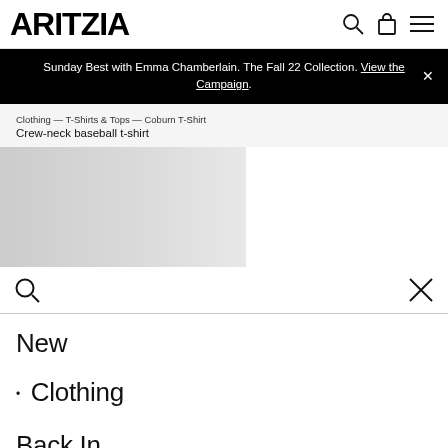ARITZIA
Sunday Best with Emma Chamberlain. The Fall 22 Collection. View the Campaign.
Clothing — T-Shirts & Tops — Coburn T-Shirt
Crew-neck baseball t-shirt
[Figure (photo): Product image placeholder - grey gradient rectangle]
Search bar with search icon and close (X) button
New
· Clothing
Back In